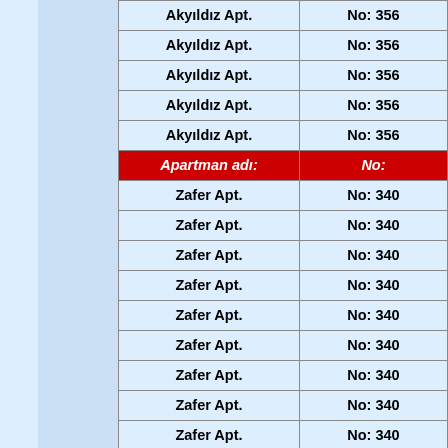| Apartman adı: | No: |
| --- | --- |
| Akyıldız Apt. | No: 356 |
| Akyıldız Apt. | No: 356 |
| Akyıldız Apt. | No: 356 |
| Akyıldız Apt. | No: 356 |
| Akyıldız Apt. | No: 356 |
| Apartman adı: | No: |
| Zafer Apt. | No: 340 |
| Zafer Apt. | No: 340 |
| Zafer Apt. | No: 340 |
| Zafer Apt. | No: 340 |
| Zafer Apt. | No: 340 |
| Zafer Apt. | No: 340 |
| Zafer Apt. | No: 340 |
| Zafer Apt. | No: 340 |
| Zafer Apt. | No: 340 |
| Zafer Apt. | No: 340 |
| Apartman adı: | No: |
| Köksoy Apt. | No: 352 |
| Köksoy Apt. | No: 352 |
| Köksoy Apt. | No: 352 |
| Köksoy Apt. | No: 352 |